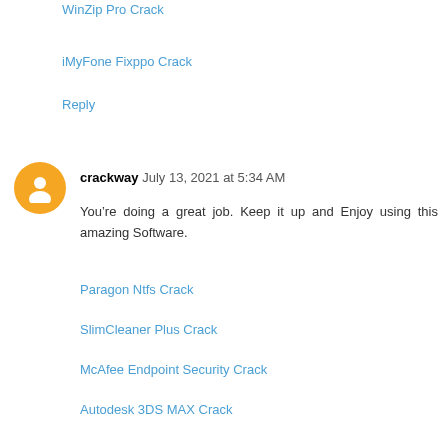WinZip Pro Crack
iMyFone Fixppo Crack
Reply
crackway July 13, 2021 at 5:34 AM
You’re doing a great job. Keep it up and Enjoy using this amazing Software.
Paragon Ntfs Crack
SlimCleaner Plus Crack
McAfee Endpoint Security Crack
Autodesk 3DS MAX Crack
Aurora HDR Crack
UnHackMe Beta Crack